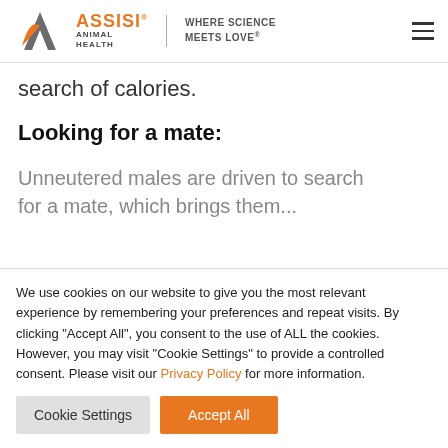Assisi Animal Health | Where Science Meets Love
search of calories.
Looking for a mate:
Unneutered males are driven to search for a mate, which brings them...
We use cookies on our website to give you the most relevant experience by remembering your preferences and repeat visits. By clicking "Accept All", you consent to the use of ALL the cookies. However, you may visit "Cookie Settings" to provide a controlled consent. Please visit our Privacy Policy for more information.